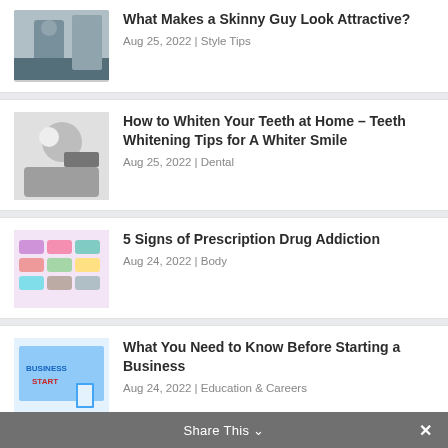What Makes a Skinny Guy Look Attractive?
Aug 25, 2022 | Style Tips
How to Whiten Your Teeth at Home – Teeth Whitening Tips for A Whiter Smile
Aug 25, 2022 | Dental
5 Signs of Prescription Drug Addiction
Aug 24, 2022 | Body
What You Need to Know Before Starting a Business
Aug 24, 2022 | Education & Careers
How do you Compare Different New Cars Against Each Other?
Aug 24, 2022 | Car News
Share This  ∨   ✕